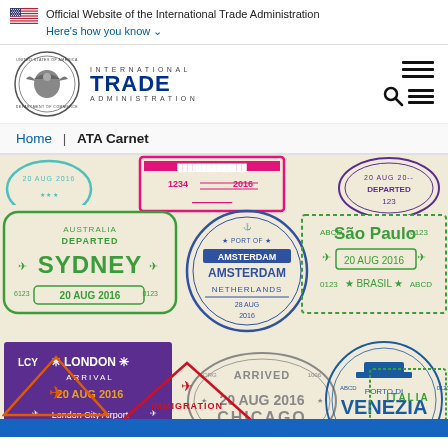Official Website of the International Trade Administration
Here's how you know
[Figure (logo): International Trade Administration logo with Department of Commerce seal]
[Figure (illustration): Collage of international travel passport stamps including Sydney, Amsterdam, São Paulo, London, Chicago, Venezia, and immigration stamps on a cream background]
Home | ATA Carnet